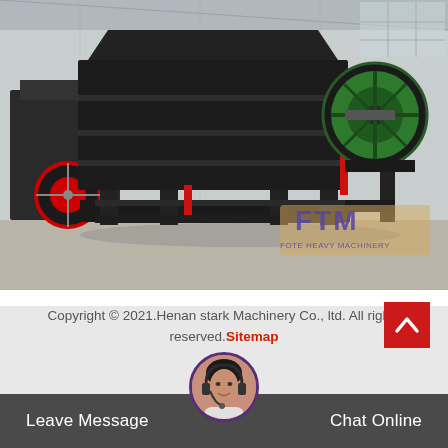[Figure (photo): Industrial ball press machine / crusher in a factory warehouse setting. Large black metal machine with green flywheel on the right side, and red flywheel on another machine in background. FTM (FOTE HEAVY MACHINERY) logo watermark visible in lower right of image.]
cryolite ball press machine manufacturer amazon
Copyright © 2021.Henan stark Machinery Co., ltd. All rights reserved.Sitemap
Leave Message   Chat Online